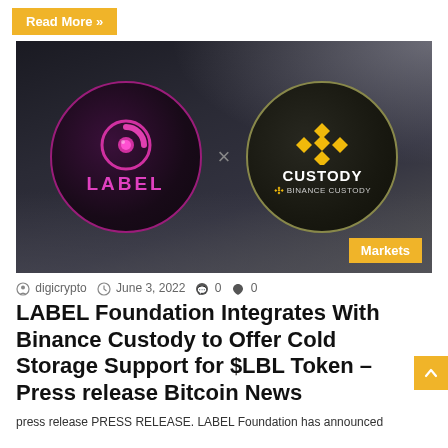Read More »
[Figure (illustration): Hero image showing LABEL Foundation logo (pink circular logo on dark background) and Binance CUSTODY logo (gold diamond logo on dark background) connected by an X symbol, with a 'Markets' tag in the bottom right corner.]
digicrypto  June 3, 2022  0  0
LABEL Foundation Integrates With Binance Custody to Offer Cold Storage Support for $LBL Token – Press release Bitcoin News
press release PRESS RELEASE. LABEL Foundation has announced